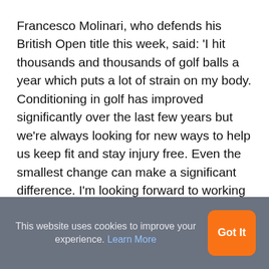Francesco Molinari, who defends his British Open title this week, said: 'I hit thousands and thousands of golf balls a year which puts a lot of strain on my body. Conditioning in golf has improved significantly over the last few years but we're always looking for new ways to help us keep fit and stay injury free. Even the smallest change can make a significant difference. I'm looking forward to working with Schoen Clinic and leaning on their expertise.'
This website uses cookies to improve your experience. Learn More   Got It